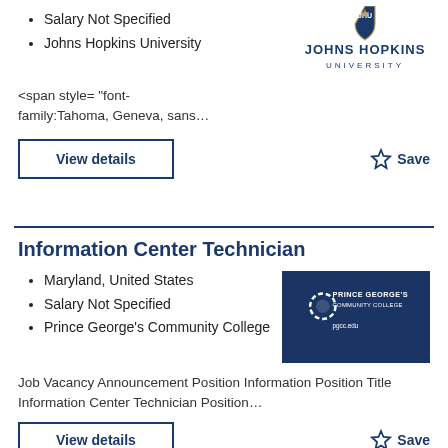Salary Not Specified
Johns Hopkins University
[Figure (logo): Johns Hopkins University shield logo with text 'JOHNS HOPKINS UNIVERSITY']
<span style= "font-family:Tahoma, Geneva, sans...
View details
Save
Information Center Technician
Maryland, United States
Salary Not Specified
Prince George's Community College
[Figure (logo): Prince George's Community College logo on dark blue background with text 'PRINCE GEORGE'S COMMUNITY COLLEGE pgcc.edu']
Job Vacancy Announcement Position Information Position Title Information Center Technician Position...
View details
Save